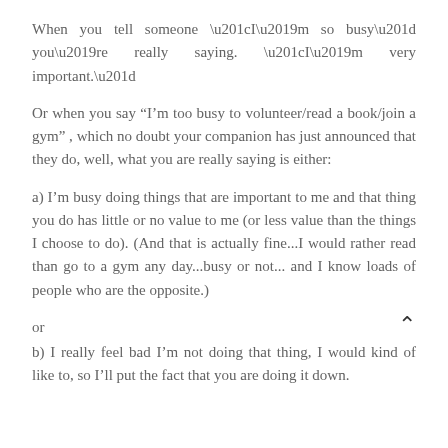When you tell someone “I’m so busy” you’re really saying. “I’m very important.”
Or when you say “I’m too busy to volunteer/read a book/join a gym” , which no doubt your companion has just announced that they do, well, what you are really saying is either:
a) I’m busy doing things that are important to me and that thing you do has little or no value to me (or less value than the things I choose to do). (And that is actually fine...I would rather read than go to a gym any day...busy or not... and I know loads of people who are the opposite.)
or
b) I really feel bad I’m not doing that thing, I would kind of like to, so I’ll put the fact that you are doing it down.